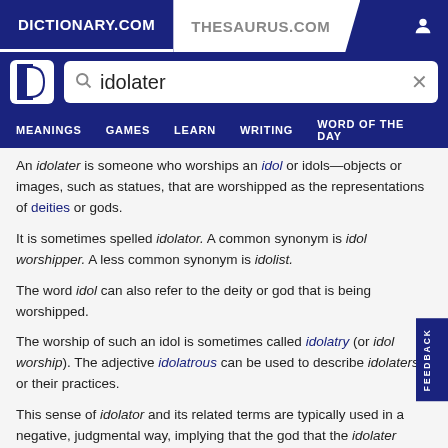DICTIONARY.COM | THESAURUS.COM
[Figure (screenshot): Dictionary.com website header with logo and search bar showing 'idolater', navigation menu with MEANINGS, GAMES, LEARN, WRITING, WORD OF THE DAY]
An idolater is someone who worships an idol or idols—objects or images, such as statues, that are worshipped as the representations of deities or gods.
It is sometimes spelled idolator. A common synonym is idol worshipper. A less common synonym is idolist.
The word idol can also refer to the deity or god that is being worshipped.
The worship of such an idol is sometimes called idolatry (or idol worship). The adjective idolatrous can be used to describe idolaters or their practices.
This sense of idolator and its related terms are typically used in a negative, judgmental way, implying that the god that the idolater worships is not actually real and that such worship is wrong or sinful.